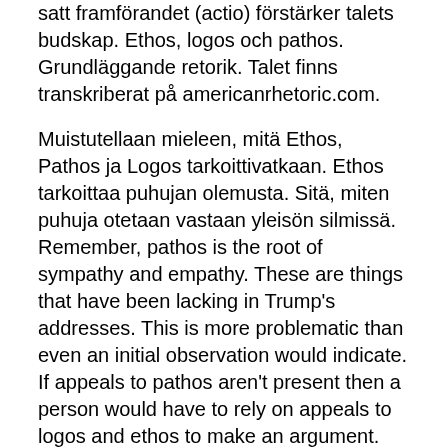satt framförandet (actio) förstärker talets budskap. Ethos, logos och pathos. Grundläggande retorik. Talet finns transkriberat på americanrhetoric.com.
Muistutellaan mieleen, mitä Ethos, Pathos ja Logos tarkoittivatkaan. Ethos tarkoittaa puhujan olemusta. Sitä, miten puhuja otetaan vastaan yleisön silmissä. Remember, pathos is the root of sympathy and empathy. These are things that have been lacking in Trump's addresses. This is more problematic than even an initial observation would indicate. If appeals to pathos aren't present then a person would have to rely on appeals to logos and ethos to make an argument.
Exempel på kompetens cv
Appeals to the audience's capacity for empathy,